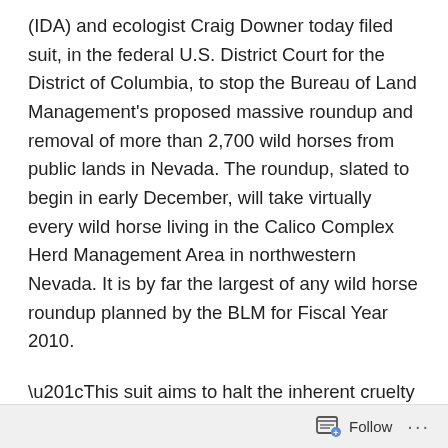(IDA) and ecologist Craig Downer today filed suit, in the federal U.S. District Court for the District of Columbia, to stop the Bureau of Land Management's proposed massive roundup and removal of more than 2,700 wild horses from public lands in Nevada. The roundup, slated to begin in early December, will take virtually every wild horse living in the Calico Complex Herd Management Area in northwestern Nevada. It is by far the largest of any wild horse roundup planned by the BLM for Fiscal Year 2010.
“This suit aims to halt the inherent cruelty of the BLM’s wild horse roundups, which traumatize, injure and kill horses, subvert the will of Congress and are entirely illegal,” said William Spriggs, Esq., a partner at Buchanan, Ingersoll & Rooney and lead counsel on the law suit. The
Follow